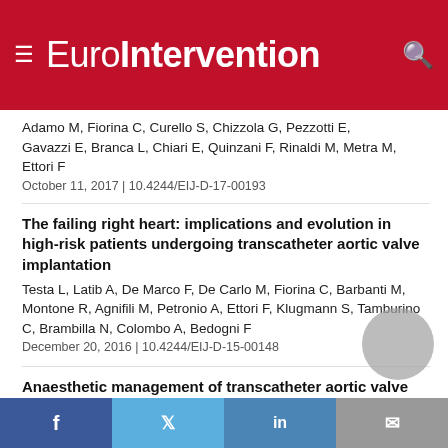EuroIntervention
Adamo M, Fiorina C, Curello S, Chizzola G, Pezzotti E, Gavazzi E, Branca L, Chiari E, Quinzani F, Rinaldi M, Metra M, Ettori F
October 11, 2017 | 10.4244/EIJ-D-17-00193
The failing right heart: implications and evolution in high-risk patients undergoing transcatheter aortic valve implantation
Testa L, Latib A, De Marco F, De Carlo M, Fiorina C, Barbanti M, Montone R, Agnifili M, Petronio A, Ettori F, Klugmann S, Tamburino C, Brambilla N, Colombo A, Bedogni F
December 20, 2016 | 10.4244/EIJ-D-15-00148
Anaesthetic management of transcatheter aortic valve implantation: results from the Italian CoreValve registry
Petronio A, Giannini C, De Carlo M, Bedogni F, Colombo A, Tamburino C, Klugmann S, Poli A, Guarracino F, Barbanti M, Latib A, Brambilla N, Fiorina C, Bruschi G, Martina P, Ettori F
f  t  in  ✉